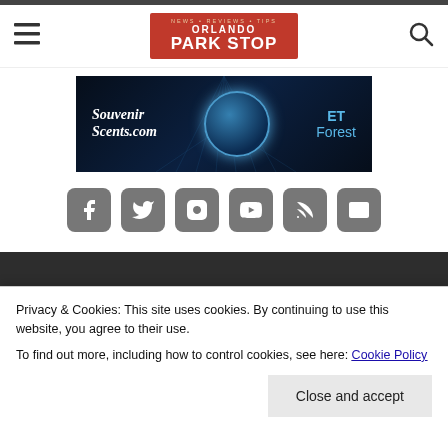Orlando Park Stop
[Figure (illustration): Advertisement banner for SouvenirScents.com featuring ET Forest product with blue glowing orb against dark background]
[Figure (infographic): Six social media icon buttons: Facebook, Twitter, Instagram, YouTube, RSS, Email — all in gray rounded squares]
Privacy & Cookies: This site uses cookies. By continuing to use this website, you agree to their use.
To find out more, including how to control cookies, see here: Cookie Policy
Close and accept